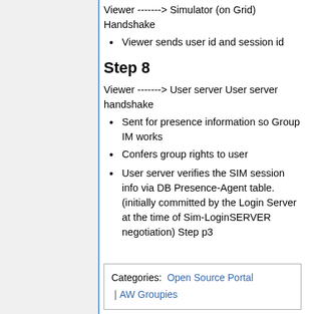Viewer -------> Simulator (on Grid) Handshake
Viewer sends user id and session id
Step 8
Viewer -------> User server User server handshake
Sent for presence information so Group IM works
Confers group rights to user
User server verifies the SIM session info via DB Presence-Agent table. (initially committed by the Login Server at the time of Sim-LoginSERVER negotiation) Step p3
Categories:  Open Source Portal | AW Groupies